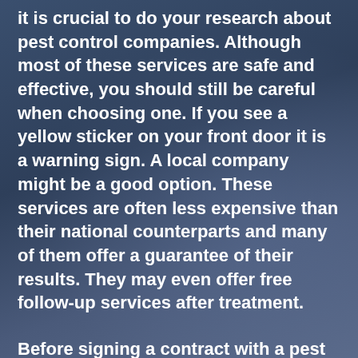It is crucial to do your research about pest control companies. Although most of these services are safe and effective, you should still be careful when choosing one. If you see a yellow sticker on your front door it is a warning sign. A local company might be a good option. These services are often less expensive than their national counterparts and many of them offer a guarantee of their results. They may even offer free follow-up services after treatment.
Before signing a contract with a pest control firm, you need to ask several questions. Ask about the type of pests they deal with and how often. Some companies offer specialized treatments to certain types of pests. It is also important to know what the contract terms are. Some companies don't offer this